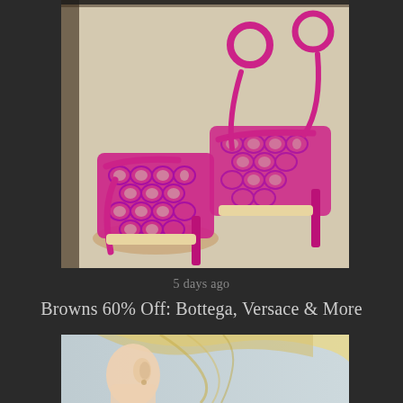[Figure (photo): Close-up photograph of two fuchsia/magenta pink mesh stiletto heels with ankle straps, placed on a beige/tan surface. The shoes feature an open-weave hexagonal mesh pattern upper and thin stiletto heels.]
5 days ago
Browns 60% Off: Bottega, Versace & More
[Figure (photo): Partial photograph of a blonde woman's profile/side face against a light blue/grey background, showing her ear and neck area.]